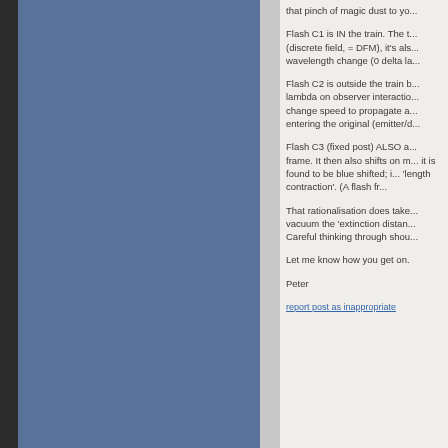that pinch of magic dust to yo...
Flash C1 is IN the train. The t... (discrete field, = DFM), it's als... wavelength change (0 delta la...
Flash C2 is outside the train b... lambda on observer interactio... change speed to propagate a... entering the original (emitter/d...
Flash C3 (fixed post) ALSO a... frame. It then also shifts on m... it is found to be blue shifted; i... 'length contraction'. (A flash fr...
That rationalisation does take... vacuum the 'extinction distan... Careful thinking through shou...
Let me know how you get on.
Peter
report post as inappropriate